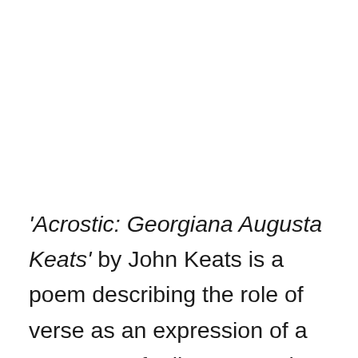'Acrostic: Georgiana Augusta Keats' by John Keats is a poem describing the role of verse as an expression of a poet's true feelings towards someone. Here the poet is dedicated to the poet's sister-in-law Georgiana Augusta Keats. She was the wife of his brother George Keats. The couple